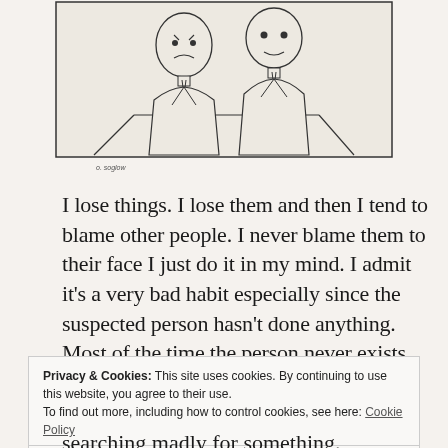[Figure (illustration): A line drawing cartoon by O. Soglow showing two men in suits behind a counter or desk, viewed from the front. Simple minimalist style. Artist signature 'o. soglow' at bottom left.]
I lose things. I lose them and then I tend to blame other people. I never blame them to their face I just do it in my mind. I admit it's a very bad habit especially since the suspected person hasn't done anything. Most of the time the person never exists.
Privacy & Cookies: This site uses cookies. By continuing to use this website, you agree to their use.
To find out more, including how to control cookies, see here: Cookie Policy
Close and accept
searching madly for something.